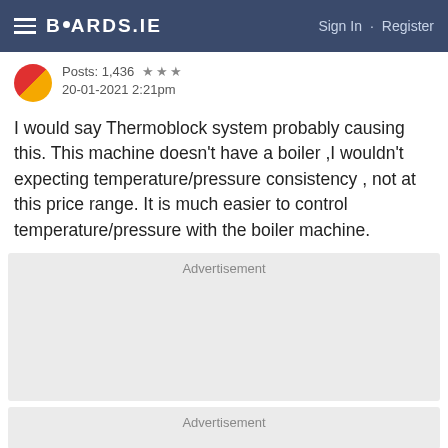BOARDS.IE  Sign In · Register
Posts: 1,436  ★★★
20-01-2021 2:21pm
I would say Thermoblock system probably causing this. This machine doesn't have a boiler ,I wouldn't expecting temperature/pressure consistency , not at this price range. It is much easier to control temperature/pressure with the boiler machine.
Advertisement
Advertisement